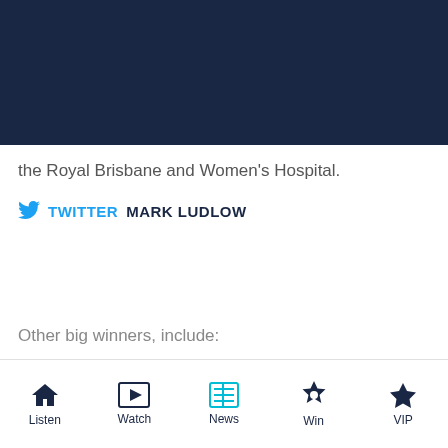the Royal Brisbane and Women's Hospital.
TWITTER  MARK LUDLOW
Other big winners, include:
Listen  Watch  News  Win  VIP